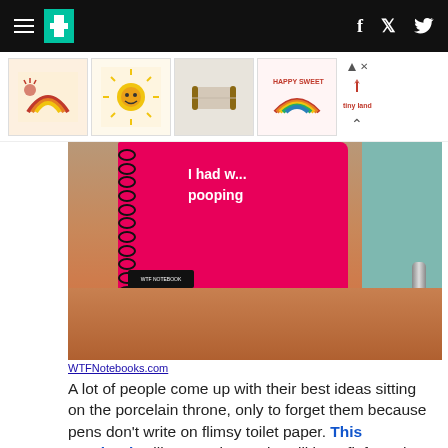HuffPost navigation header with hamburger menu, logo, Facebook and Twitter icons
[Figure (illustration): Advertisement strip showing colorful children's product images (rainbow, sun, mat, rainbow) with Tiny Land branding]
[Figure (photo): Person sitting on toilet reading a bright pink spiral notebook with text 'I had w... pooping' on the cover. Hands visible holding book. Teal tile wall in background.]
WTFNotebooks.com
A lot of people come up with their best ideas sitting on the porcelain throne, only to forget them because pens don't write on flimsy toilet paper. This notebook will ensure humanity will benefit from the wisdom your dad gleans while answering nature's call.